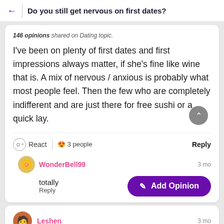Do you still get nervous on first dates?
146 opinions shared on Dating topic.
I've been on plenty of first dates and first impressions always matter, if she's fine like wine that is. A mix of nervous / anxious is probably what most people feel. Then the few who are completely indifferent and are just there for free sushi or a quick lay.
React | 😍 3 people  Reply
WonderBell99  3 mo
totally
Reply
Add Opinion
Leshen